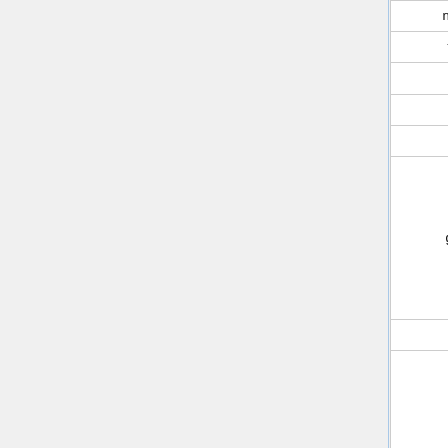| Domain | Date | Notes |
| --- | --- | --- |
| nloops.info | 2016-01-29 | Appea... |
| firsturl.de | 2016-02-17 | Appea... |
| fnd.us | 2016-09-17 |  |
| fork.cc | 2018-12-27 | Based ... |
| fur.ly | 2016-07-13 | Cla... |
| gdurl.com | 2016-05-28 | http:...
http://gd...
urls short...
note this a...
when it... |
| gouri.tv | 2018-12-28 | Based ... |
| hive.co/l | 2016-05-29 | this is...
tracks....
other ch...
format... |